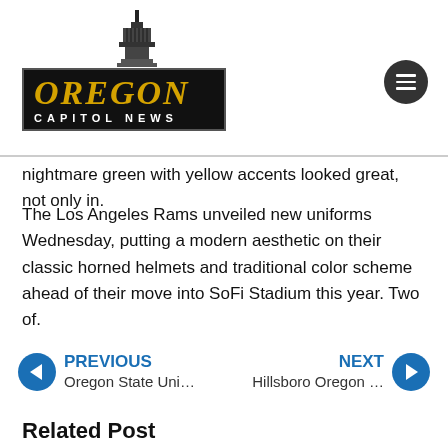[Figure (logo): Oregon Capitol News logo with capitol building tower above a black sign reading OREGON CAPITOL NEWS in gold and white]
nightmare green with yellow accents looked great, not only in.
The Los Angeles Rams unveiled new uniforms Wednesday, putting a modern aesthetic on their classic horned helmets and traditional color scheme ahead of their move into SoFi Stadium this year. Two of.
PREVIOUS Oregon State Uni… NEXT Hillsboro Oregon …
Related Post